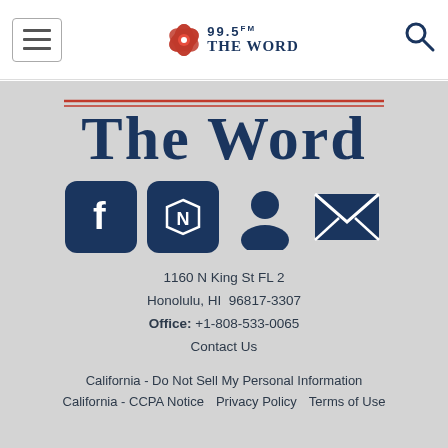[Figure (screenshot): Navigation bar with hamburger menu, 99.5 FM The Word logo, and search icon]
[Figure (logo): Large 'The Word' radio station logo with red underline decoration]
[Figure (infographic): Social media icons: Facebook, Apple News, User/Account, Email/Newsletter]
1160 N King St FL 2
Honolulu, HI  96817-3307
Office: +1-808-533-0065
Contact Us
California - Do Not Sell My Personal Information
California - CCPA Notice   Privacy Policy   Terms of Use